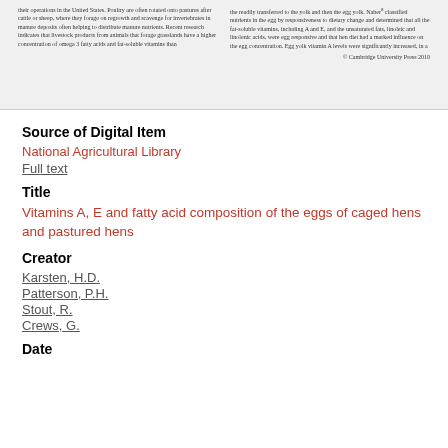[Figure (screenshot): Preview snippet of a two-column academic article text with copyright line reading '© Cambridge University Press 2010']
Source of Digital Item
National Agricultural Library
Full text
Title
Vitamins A, E and fatty acid composition of the eggs of caged hens and pastured hens
Creator
Karsten, H.D.
Patterson, P.H.
Stout, R.
Crews, G.
Date